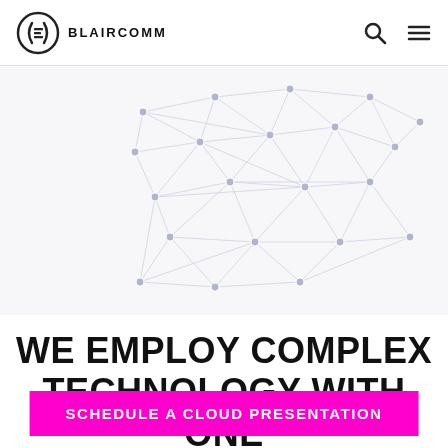[Figure (logo): BlairComm logo: parenthesis-bracket icon with text BLAIRCOMM]
[Figure (illustration): Abstract network/mesh diagram with nodes and connecting lines on white/light grey background]
WE EMPLOY COMPLEX TECHNOLOGY WITH ONE GOAL, SIMPLICITY.
SCHEDULE A CLOUD PRESENTATION